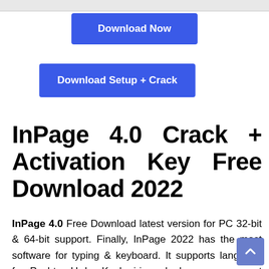[Figure (screenshot): Browser top bar strip]
Download Now
Download Setup + Crack
InPage 4.0 Crack + Activation Key Free Download 2022
InPage 4.0 Free Download latest version for PC 32-bit & 64-bit support. Finally, InPage 2022 has the most software for typing & keyboard. It supports language for Pashto, Urdu, Kashmiri, and also more support language.